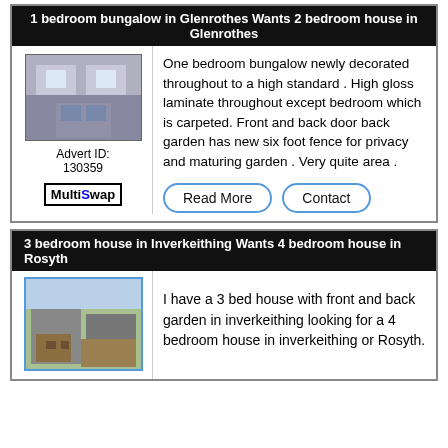1 bedroom bungalow in Glenrothes Wants 2 bedroom house in Glenrothes
[Figure (photo): Interior photo of a living room with sofa and windows]
Advert ID: 130359
[Figure (logo): MultiSwap logo with bold M, blue S]
One bedroom bungalow newly decorated throughout to a high standard . High gloss laminate throughout except bedroom which is carpeted. Front and back door back garden has new six foot fence for privacy and maturing garden . Very quite area .
Read More   Contact
3 bedroom house in Inverkeithing Wants 4 bedroom house in Rosyth
[Figure (photo): Exterior photo of a garden/patio area with wooden decking and fencing]
I have a 3 bed house with front and back garden in inverkeithing looking for a 4 bedroom house in inverkeithing or Rosyth.